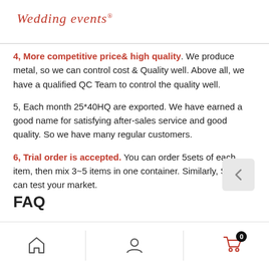Wedding events®
4, More competitive price& high quality. We produce metal, so we can control cost & Quality well. Above all, we have a qualified QC Team to control the quality well.
5, Each month 25*40HQ are exported. We have earned a good name for satisfying after-sales service and good quality. So we have many regular customers.
6, Trial order is accepted. You can order 5sets of each item, then mix 3~5 items in one container. Similarly, So you can test your market.
FAQ